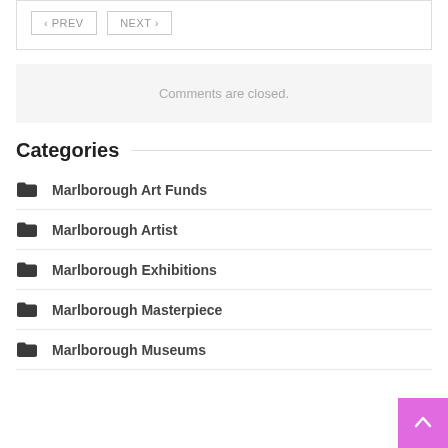< PREV  NEXT >
Comments are closed.
Categories
Marlborough Art Funds
Marlborough Artist
Marlborough Exhibitions
Marlborough Masterpiece
Marlborough Museums